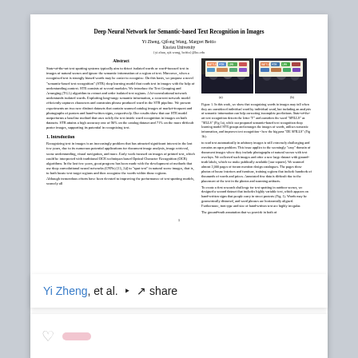Deep Neural Network for Semantic-based Text Recognition in Images
Yi Zheng, Qifong Wang, Margret Beitio
Kuoiou University
{yi.zhao, qif.wang, beitio}@ku.edu
Abstract
State-of-the-art text spotting systems typically aim to detect isolated words or word-focused text in images of natural scenes and ignore the semantic information of a region of text. Moreover, when a recognized text is strongly biased words may be easier to recognize. On this basis, we propose a novel semantic-based text recognition (STR) deep learning model that reads text in images with the help of understanding context. STR consists of several modules. We introduce the Text Grouping and Arranging (TGA) algorithm to extract and order isolated text regions. A bi-convolutional network understands isolated words. Exploiting long-range semantic information, a recurrent network model efficiently captures characters and constrains phrase produced word in the STR pipeline. We present experiments on two new distinct datasets that contain scanned catalog images of market-frequent and photographs of posters and hand-written signs, respectively. Our results show that our STR model outperforms a baseline method that uses solely the text inside word recognition in images on both datasets. STR attains a high accuracy rate of 90% on the catalog dataset and 71% on the more difficult poster images, supporting its potential in recognizing text.
1. Introduction
Recognizing text in images is an increasingly problem that has attracted significant interest in the last few years, due to its numerous potential applications for document image analysis, image retrieval, scene understanding, visual navigation, and more. Early work focused on images of printed text, which could be interpreted with traditional OCR techniques based Optical Character Recognition (OCR) algorithms. In the last few years, great progress has been made with the development of methods that use deep convolutional neural networks (CNNs) to spot text in natural scene images, that is, to both locate text target regions and then recognize the words within those regions.
[Figure (photo): Two photos of people holding colorful word-block signs at a protest or rally, labeled (a) and (b).]
Figure 1. In this work, we show that recognizing words in images may fall when they are considered individual word by individual word, but including an analysis of semantic information can help correcting incomplete predictions. State-of-the-art text recognition detects the letter F and considers the word SPILLS as SILLS (Fig 1a), while our proposed semantic-based text recognition deep learning model STR groups and arranges the images of words, utilizes semantic information, and improves text recognition - here the big pass DE SPILLS (Fig 1b).
to read text automatically in arbitrary images is still extremely challenging and remains an open problem. This issue applies to the seemingly easy domain of document images where they include photographs of natural scenes with text overlays. We collected such images and offer a new large dataset with ground-truth labels, which we make publically available. We scanned almost 3,000 pages of forum mention design catalogues. The pages show photos of house interiors and furniture, training regions that include hundreds of thousands of words and prices. Annotated fine data is difficult due to the placement of the text in the photos and scanning artifacts.
To create a first research challenge for text spotting in outdoor scenes, we designed a second dataset that includes highly variable text, which appears on hand-written signs that people carry in street protests (Fig. 1). Words may be geometrically distorted, and word phrases are horizontally aligned. Furthermore, font type and size of hand-written text are highly irregular.
The ground-truth annotation that we provide in both of
1
Yi Zheng, et al. · share